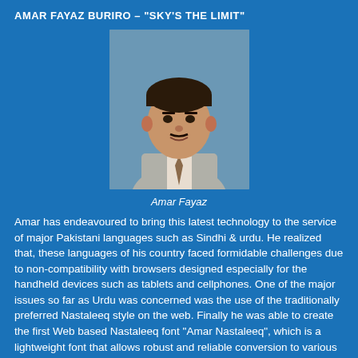AMAR FAYAZ BURIRO – "SKY'S THE LIMIT"
[Figure (photo): Portrait photo of Amar Fayaz, a middle-aged South Asian man in a light grey suit with a tie, photographed in front of a blurred background.]
Amar Fayaz
Amar has endeavoured to bring this latest technology to the service of major Pakistani languages such as Sindhi & urdu. He realized that, these languages of his country faced formidable challenges due to non-compatibility with browsers designed especially for the handheld devices such as tablets and cellphones. One of the major issues so far as Urdu was concerned was the use of the traditionally preferred Nastaleeq style on the web. Finally he was able to create the first Web based Nastaleeq font "Amar Nastaleeq", which is a lightweight font that allows robust and reliable conversion to various embeddable formats for use across major OS's, browsers and devices. Meanwhile, he also worked at localizing the world's leading